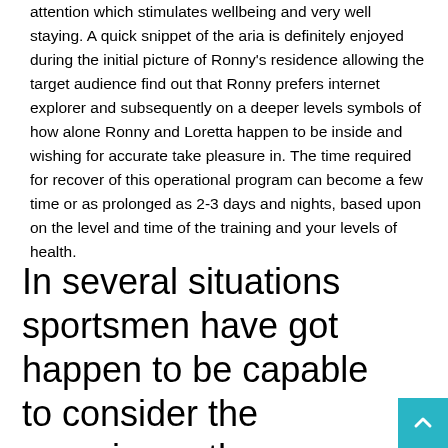attention which stimulates wellbeing and very well staying. A quick snippet of the aria is definitely enjoyed during the initial picture of Ronny's residence allowing the target audience find out that Ronny prefers internet explorer and subsequently on a deeper levels symbols of how alone Ronny and Loretta happen to be inside and wishing for accurate take pleasure in. The time required for recover of this operational program can become a few time or as prolonged as 2-3 days and nights, based upon on the level and time of the training and your levels of health.
In several situations sportsmen have got happen to be capable to consider the experience they contain discovered from in sport activity to bigger quantities in organization and